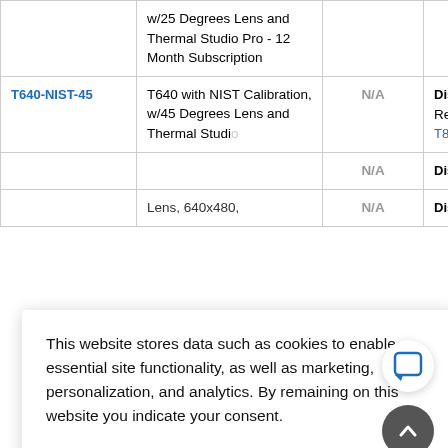| Product | Description | Price | Status |
| --- | --- | --- | --- |
|  | w/25 Degrees Lens and Thermal Studio Pro - 12 Month Subscription |  |  |
| T640-NIST-45 | T640 with NIST Calibration, w/45 Degrees Lens and Thermal Studio... | N/A | Discontinued
Replaced by T865 42 |
|  |  | N/A | Discontinued |
|  | ...Lens, 640x480, | N/A | Discontinued |
This website stores data such as cookies to enable essential site functionality, as well as marketing, personalization, and analytics. By remaining on this website you indicate your consent.
Privacy Policy